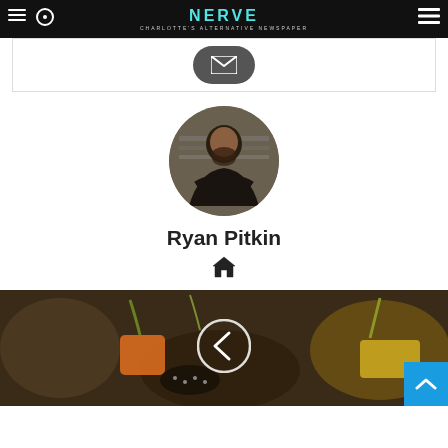NERVE - Charlotte's Alternative Newspaper
[Figure (other): Email contact button (dark rounded rectangle with envelope icon)]
[Figure (photo): Circular profile photo of Ryan Pitkin, a bearded man in a black hoodie with arms crossed, seated against a textured background]
Ryan Pitkin
[Figure (other): Home icon (house symbol) below author name]
[Figure (photo): Food photograph showing colorful appetizers/bites on dark background with a left navigation arrow overlay and a blue scroll-to-top button]